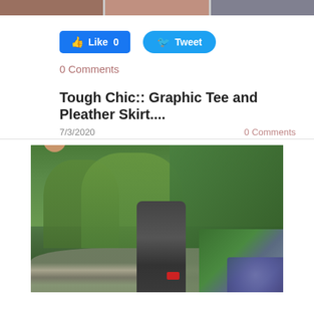[Figure (photo): Three cropped thumbnail photos at top of page showing people/fashion]
[Figure (other): Like 0 Facebook button and Tweet Twitter button]
0 Comments
Tough Chic:: Graphic Tee and Pleather Skirt....
7/3/2020   0 Comments
[Figure (photo): Woman walking outdoors wearing dark graphic tee, holding red clutch, with trees and hydrangeas in background]